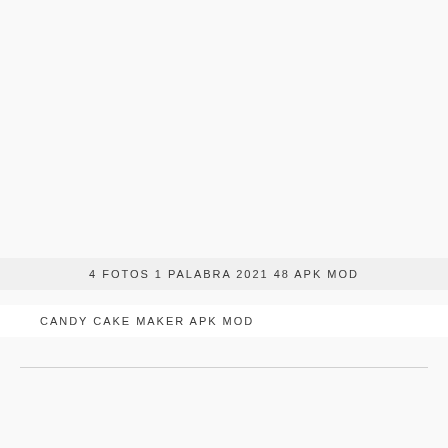4 FOTOS 1 PALABRA 2021 48 APK MOD
CANDY CAKE MAKER APK MOD